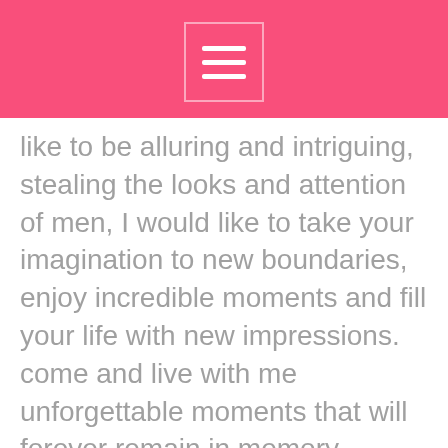like to be alluring and intriguing, stealing the looks and attention of men, I would like to take your imagination to new boundaries, enjoy incredible moments and fill your life with new impressions. come and live with me unforgettable moments that will forever remain in memory